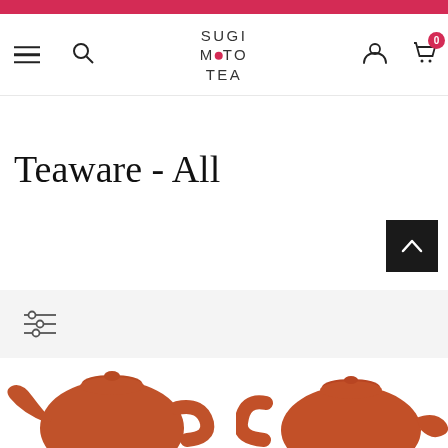[Figure (screenshot): Red top banner bar]
Sugimoto Tea - navigation header with hamburger menu, search icon, logo, user icon, and cart (0 items)
Teaware - All
[Figure (other): Back to top button (dark square with upward chevron)]
[Figure (other): Filter/sort controls bar with sliders icon]
[Figure (photo): Two terracotta/red clay Japanese teapots (kyusu) partially visible at the bottom of the page]